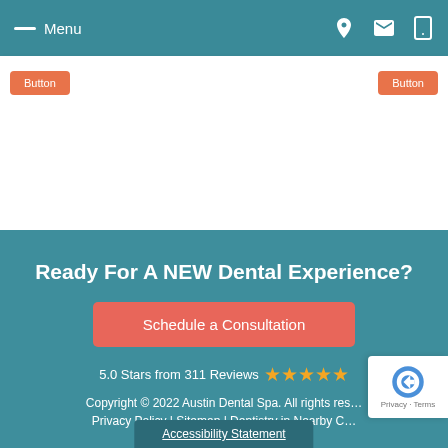Menu
Ready For A NEW Dental Experience?
Schedule a Consultation
5.0 Stars from 311 Reviews ★★★★★
Copyright © 2022 Austin Dental Spa. All rights reserved.
Privacy Policy | Sitemap | Dentistry in Nearby Cities
Accessibility Statement